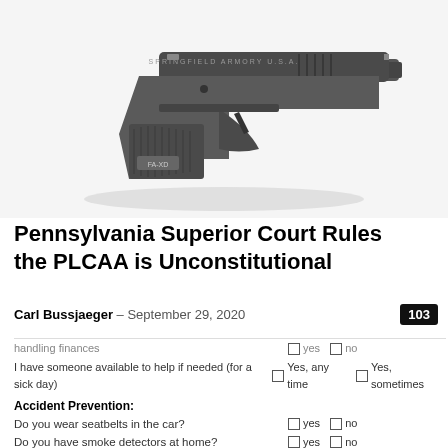[Figure (photo): Photo of a Springfield Armory XD pistol handgun, dark gray/black, angled to show the side profile, on a white background with faint shadow beneath.]
Pennsylvania Superior Court Rules the PLCAA is Unconstitutional
Carl Bussjaeger – September 29, 2020   103
handling finances  ☐ yes ☐ no
I have someone available to help if needed (for a sick day) ☐ Yes, any time ☐ Yes, sometimes
Accident Prevention:
Do you wear seatbelts in the car? ☐ yes ☐ no
Do you have smoke detectors at home? ☐ yes ☐ no
Do you have carbon monoxide detectors? ☐ yes ☐ no
Do you have a firearm at home? ☐ yes ☐ no  If yes, is it locked up? ☐ yes ☐ no